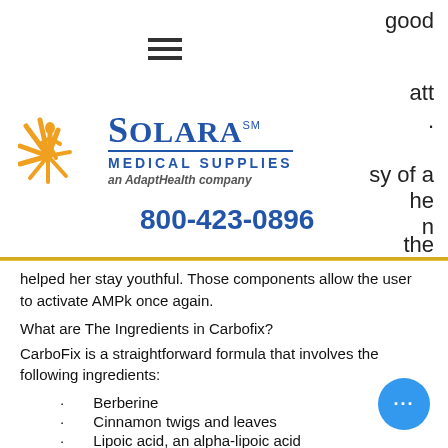[Figure (logo): Solara Medical Supplies logo — an AdaptHealth company, with starburst figure graphic in orange and blue text]
800-423-0896
helped her stay youthful. Those components allow the user to activate AMPk once again.
What are The Ingredients in Carbofix?
CarboFix is a straightforward formula that involves the following ingredients:
Berberine
Cinnamon twigs and leaves
Lipoic acid, an alpha-lipoic acid
Chromium